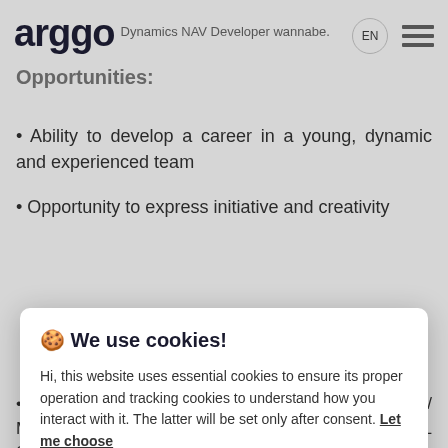arggo · Dynamics NAV Developer wannabe.
Opportunities:
Ability to develop a career in a young, dynamic and experienced team
Opportunity to express initiative and creativity
🍪 We use cookies!

Hi, this website uses essential cookies to ensure its proper operation and tracking cookies to understand how you interact with it. The latter will be set only after consent. Let me choose

[Accept all] [Reject all]
Develop solutions within the Business Central 365 / Microsoft Dynamics NAV/NET and Microsoft SQL Server